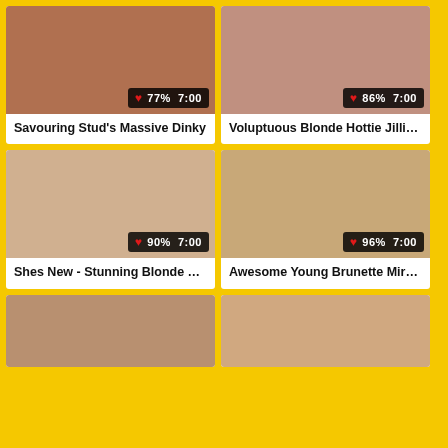[Figure (photo): Video thumbnail 1 with rating overlay 77% 7:00]
Savouring Stud's Massive Dinky
[Figure (photo): Video thumbnail 2 with rating overlay 86% 7:00]
Voluptuous Blonde Hottie Jillia...
[Figure (photo): Video thumbnail 3 with rating overlay 90% 7:00]
Shes New - Stunning Blonde ...
[Figure (photo): Video thumbnail 4 with rating overlay 96% 7:00]
Awesome Young Brunette Mir...
[Figure (photo): Video thumbnail 5, partial view, no overlay visible]
[Figure (photo): Video thumbnail 6, partial view, no overlay visible]